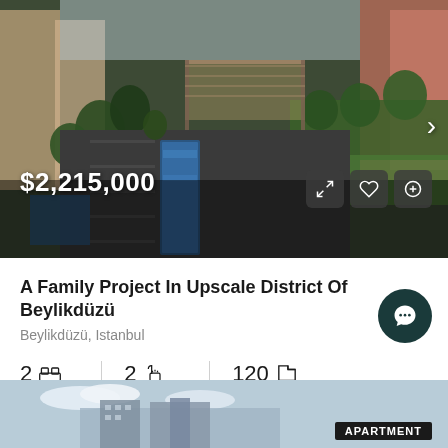[Figure (photo): Aerial/elevated view of an apartment complex courtyard with a long rectangular swimming pool, paved walkway, pergola/shade structure, trees, hedges, and residential buildings in the background]
$2,215,000
A Family Project In Upscale District Of Beylikdüzü
Beylikdüzü, Istanbul
2 Bedrooms
2 Bathrooms
120 m²
[Figure (photo): Partial view of another apartment building listing at the bottom of the page with blue sky background and APARTMENT tag]